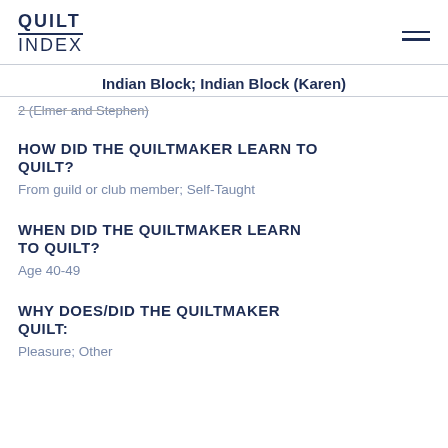QUILT INDEX
Indian Block; Indian Block (Karen)
2 (Elmer and Stephen)
HOW DID THE QUILTMAKER LEARN TO QUILT?
From guild or club member; Self-Taught
WHEN DID THE QUILTMAKER LEARN TO QUILT?
Age 40-49
WHY DOES/DID THE QUILTMAKER QUILT:
Pleasure; Other